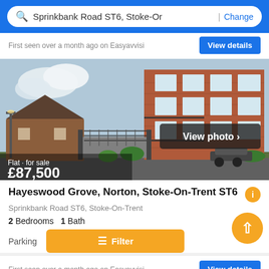Sprinkbank Road ST6, Stoke-Or | Change
First seen over a month ago on Easyavvisi
[Figure (photo): Exterior photo of a red brick apartment building for sale, with view photo overlay button and price overlay showing Flat for sale £87,500]
Hayeswood Grove, Norton, Stoke-On-Trent ST6
Sprinkbank Road ST6, Stoke-On-Trent
2 Bedrooms  1 Bath
Parking
First seen over a month ago on Easyavvisi